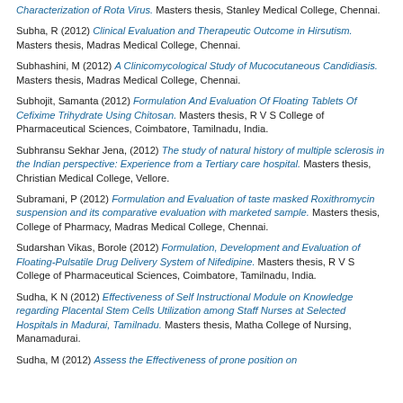Characterization of Rota Virus. Masters thesis, Stanley Medical College, Chennai.
Subha, R (2012) Clinical Evaluation and Therapeutic Outcome in Hirsutism. Masters thesis, Madras Medical College, Chennai.
Subhashini, M (2012) A Clinicomycological Study of Mucocutaneous Candidiasis. Masters thesis, Madras Medical College, Chennai.
Subhojit, Samanta (2012) Formulation And Evaluation Of Floating Tablets Of Cefixime Trihydrate Using Chitosan. Masters thesis, R V S College of Pharmaceutical Sciences, Coimbatore, Tamilnadu, India.
Subhransu Sekhar Jena, (2012) The study of natural history of multiple sclerosis in the Indian perspective: Experience from a Tertiary care hospital. Masters thesis, Christian Medical College, Vellore.
Subramani, P (2012) Formulation and Evaluation of taste masked Roxithromycin suspension and its comparative evaluation with marketed sample. Masters thesis, College of Pharmacy, Madras Medical College, Chennai.
Sudarshan Vikas, Borole (2012) Formulation, Development and Evaluation of Floating-Pulsatile Drug Delivery System of Nifedipine. Masters thesis, R V S College of Pharmaceutical Sciences, Coimbatore, Tamilnadu, India.
Sudha, K N (2012) Effectiveness of Self Instructional Module on Knowledge regarding Placental Stem Cells Utilization among Staff Nurses at Selected Hospitals in Madurai, Tamilnadu. Masters thesis, Matha College of Nursing, Manamadurai.
Sudha, M (2012) Assess the Effectiveness of prone position on